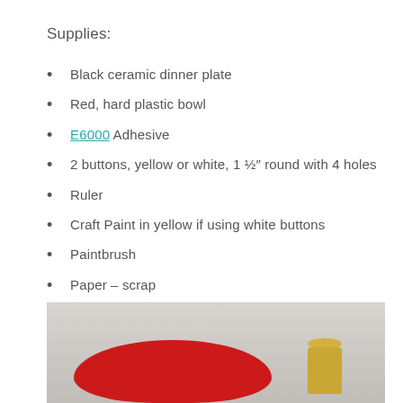Supplies:
Black ceramic dinner plate
Red, hard plastic bowl
E6000 Adhesive
2 buttons, yellow or white, 1 ½″ round with 4 holes
Ruler
Craft Paint in yellow if using white buttons
Paintbrush
Paper – scrap
[Figure (photo): Photo showing a red plastic bowl and a yellow cylindrical container on a light wood surface]